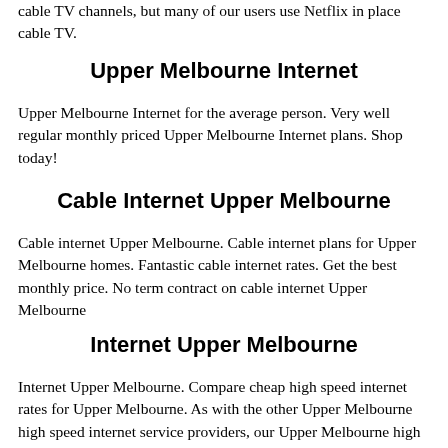cable TV channels, but many of our users use Netflix in place cable TV.
Upper Melbourne Internet
Upper Melbourne Internet for the average person. Very well regular monthly priced Upper Melbourne Internet plans. Shop today!
Cable Internet Upper Melbourne
Cable internet Upper Melbourne. Cable internet plans for Upper Melbourne homes. Fantastic cable internet rates. Get the best monthly price. No term contract on cable internet Upper Melbourne
Internet Upper Melbourne
Internet Upper Melbourne. Compare cheap high speed internet rates for Upper Melbourne. As with the other Upper Melbourne high speed internet service providers, our Upper Melbourne high speed internet plan speeds below are in Mbps, & are 'up to'. 'Fee' is for an Installation or Activation or Transfer expense, & might be shown as a 'setup fee' in various places in our system. Plan costs